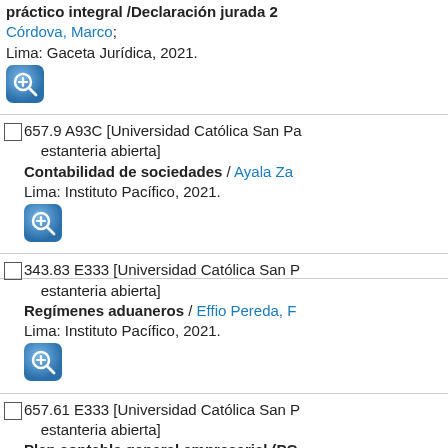práctico integral /Declaración jurada 2... Córdova, Marco; Lima: Gaceta Jurídica, 2021.
657.9 A93C [Universidad Católica San Pa... estanteria abierta] Contabilidad de sociedades / Ayala Za... Lima: Instituto Pacífico, 2021.
343.83 E333 [Universidad Católica San P... estanteria abierta] Regímenes aduaneros / Effio Pereda, F... Lima: Instituto Pacífico, 2021.
657.61 E333 [Universidad Católica San P... estanteria abierta] Plan contable general empresarial (PC... a nivel de subcuentas / Effio Pereda, Fe... Lima: Instituto Pacífico, 2021.
343.8 B45 [Universidad Católica San Pab... estanteria abierta] Manual práctico del impuesto a la rent...